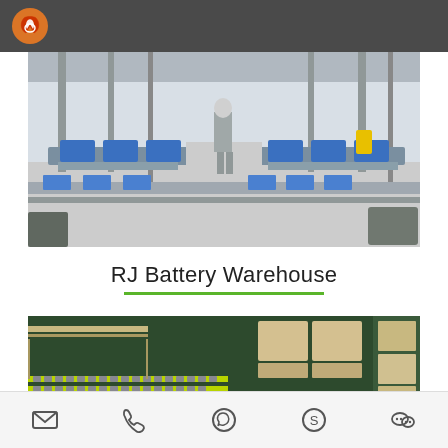RJ Battery (logo)
[Figure (photo): Battery manufacturing factory interior with assembly line conveyors, blue trays, and worker in cleanroom suit]
RJ Battery Warehouse
[Figure (photo): Battery warehouse floor with green floor markings and battery cells arranged in rows on dark green floor]
Email | Phone | WhatsApp | Skype | WeChat icons